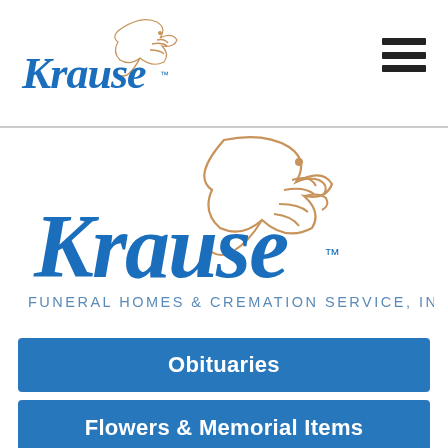[Figure (logo): Krause Funeral Homes small logo with dove in header navigation bar]
[Figure (logo): Large Krause Funeral Homes & Cremation Service, Inc. logo with dove illustration in blue script and tan/brown subtitle text]
Obituaries
Flowers & Memorial Items